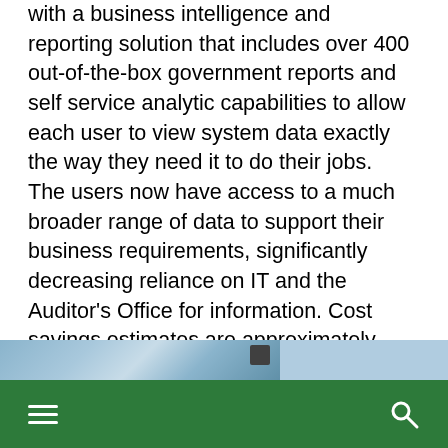with a business intelligence and reporting solution that includes over 400 out-of-the-box government reports and self service analytic capabilities to allow each user to view system data exactly the way they need it to do their jobs.  The users now have access to a much broader range of data to support their business requirements, significantly decreasing reliance on IT and the Auditor's Office for information. Cost savings estimates are approximately 75% of what they would have spent on purchasing a tool that then had to be configured to meet Government reporting requirements. This success story gained national attention with the recent award given to our partnership by the Center for Digital Government's Best Fit Integrator and Collaboration Award having been nominated by the County for our work with ERP systems and Business Intelligence.
[Figure (photo): Partial photo strip visible at bottom of content area]